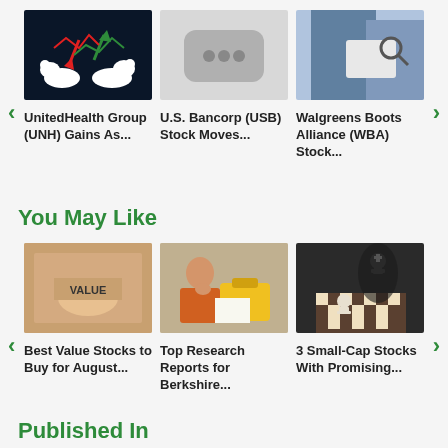[Figure (screenshot): Stock market chart with bear and bull icons, red and green arrows]
UnitedHealth Group (UNH) Gains As...
[Figure (screenshot): Gray video placeholder with three dots icon]
U.S. Bancorp (USB) Stock Moves...
[Figure (photo): Person in business attire holding a tablet with magnifying glass]
Walgreens Boots Alliance (WBA) Stock...
You May Like
[Figure (photo): Hand holding a cardboard box with VALUE stamp]
Best Value Stocks to Buy for August...
[Figure (photo): Woman looking at laptop with suitcase and travel items]
Top Research Reports for Berkshire...
[Figure (photo): Chess pieces on a board with shadow of a king]
3 Small-Cap Stocks With Promising...
Published In